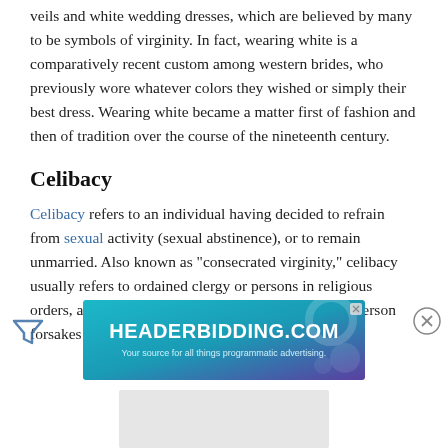veils and white wedding dresses, which are believed by many to be symbols of virginity. In fact, wearing white is a comparatively recent custom among western brides, who previously wore whatever colors they wished or simply their best dress. Wearing white became a matter first of fashion and then of tradition over the course of the nineteenth century.
Celibacy
Celibacy refers to an individual having decided to refrain from sexual activity (sexual abstinence), or to remain unmarried. Also known as "consecrated virginity," celibacy usually refers to ordained clergy or persons in religious orders, and is an avowed way of living in which the person forsakes all sexual gratification.
[Figure (other): Advertisement banner for HEADERBIDDING.COM with tagline 'Your source for all things programmatic advertising.' Blue-teal gradient background with circular decorative elements.]